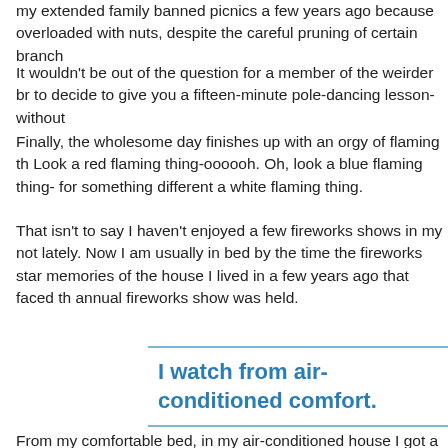my extended family banned picnics a few years ago because overloaded with nuts, despite the careful pruning of certain branch
It wouldn't be out of the question for a member of the weirder br to decide to give you a fifteen-minute pole-dancing lesson-without
Finally, the wholesome day finishes up with an orgy of flaming th Look a red flaming thing-oooooh. Oh, look a blue flaming thing- for something different a white flaming thing.
That isn't to say I haven't enjoyed a few fireworks shows in my not lately. Now I am usually in bed by the time the fireworks star memories of the house I lived in a few years ago that faced th annual fireworks show was held.
I watch from air-conditioned comfort.
From my comfortable bed, in my air-conditioned house I got a sp the fireworks. That is my ideal fireworks show, no bugs and no kids on the other hand, think the best show involves going to th will eat their bodyweight in sugary food, ask me when the show every five minutes for two and one-half hours and manage to fal sleeping though the entire show.
In order to appease my children, who are still young enough to late is the most amazing thing in the world, this year we agreed